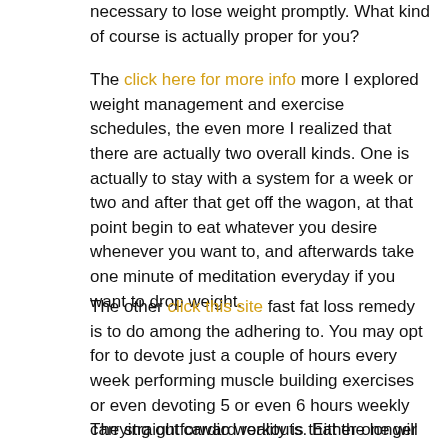necessary to lose weight promptly. What kind of course is actually proper for you?
The click here for more info more I explored weight management and exercise schedules, the even more I realized that there are actually two overall kinds. One is actually to stay with a system for a week or two and after that get off the wagon, at that point begin to eat whatever you desire whenever you want to, and afterwards take one minute of meditation everyday if you want to drop weight.
The other click this site fast fat loss remedy is to do among the adhering to. You may opt for to devote just a couple of hours every week performing muscle building exercises or even devoting 5 or even 6 hours weekly carrying out cardio workouts. Either one will function, yet which one is actually better?
The straightforward reality is that the longer an